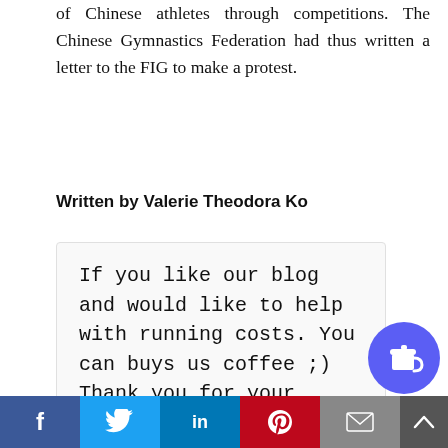of Chinese athletes through competitions. The Chinese Gymnastics Federation had thus written a letter to the FIG to make a protest.
Written by Valerie Theodora Ko
If you like our blog and would like to help with running costs. You can buys us coffee ;) Thank you for your support.
[Figure (infographic): Social sharing buttons: Facebook (blue), Twitter (light blue), LinkedIn (dark blue), Pinterest (red), Email (grey), and a scroll-to-top button. A coffee cup button (purple circle) for blog support.]